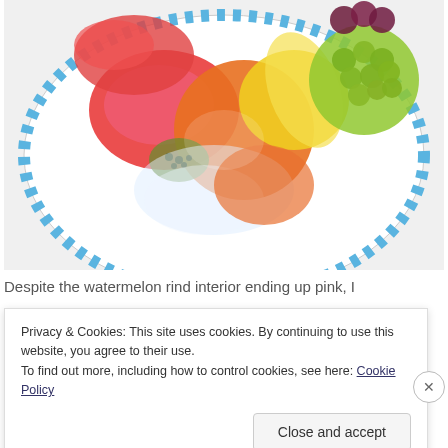[Figure (photo): Top-down view of a colorful fruit arrangement on a plate with blue dotted border. Fruits include watermelon, mango, grapes, and other colorful items arranged decoratively.]
Despite the watermelon rind interior ending up pink, I
Privacy & Cookies: This site uses cookies. By continuing to use this website, you agree to their use.
To find out more, including how to control cookies, see here: Cookie Policy
Close and accept